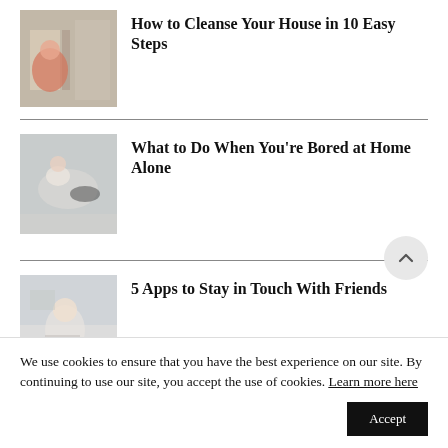[Figure (photo): Woman sitting near closet with clothing items]
How to Cleanse Your House in 10 Easy Steps
[Figure (photo): Person lying on floor with a cat in a room]
What to Do When You're Bored at Home Alone
[Figure (photo): Woman sitting on couch talking on phone]
5 Apps to Stay in Touch With Friends
We use cookies to ensure that you have the best experience on our site. By continuing to use our site, you accept the use of cookies. Learn more here
Accept